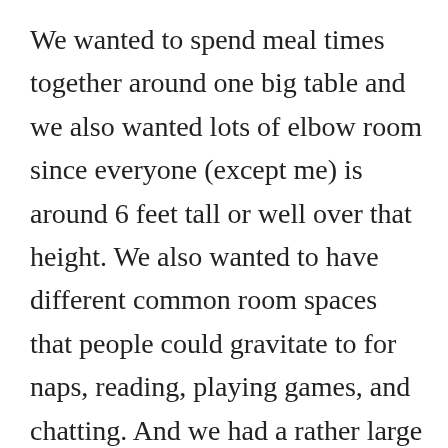We wanted to spend meal times together around one big table and we also wanted lots of elbow room since everyone (except me) is around 6 feet tall or well over that height. We also wanted to have different common room spaces that people could gravitate to for naps, reading, playing games, and chatting. And we had a rather large Christmas tree to accommodate as well since it was the holiday season. After my brief research project there was only one Airbnb that met everyone's hopes and had enough bedrooms and living space for all 11 people for 10 days. So my fun research project was over